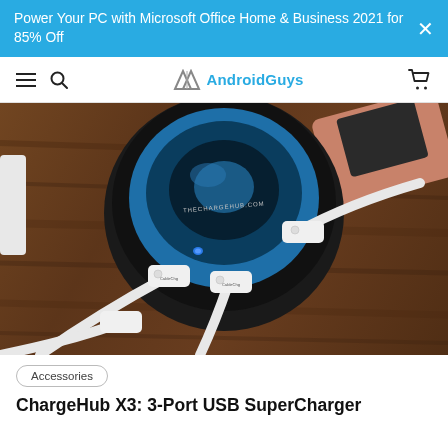Power Your PC with Microsoft Office Home & Business 2021 for 85% Off
[Figure (logo): AndroidGuys website navigation bar with hamburger menu, search icon, AndroidGuys logo, and cart icon]
[Figure (photo): ChargeHub X3 USB charging hub on a wooden desk with white USB cables plugged in, showing the round black device with blue accent and THECHARGEHUB.COM text]
Accessories
ChargeHub X3: 3-Port USB SuperCharger